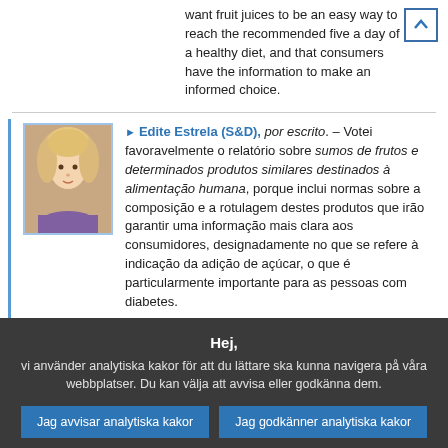want fruit juices to be an easy way to reach the recommended five a day of a healthy diet, and that consumers have the information to make an informed choice.
Edite Estrela (S&D), por escrito. – Votei favoravelmente o relatório sobre sumos de frutos e determinados produtos similares destinados à alimentação humana, porque inclui normas sobre a composição e a rotulagem destes produtos que irão garantir uma informação mais clara aos consumidores, designadamente no que se refere à indicação da adição de açúcar, o que é particularmente importante para as pessoas com diabetes.
Hej, vi använder analytiska kakor för att du lättare ska kunna navigera på våra webbplatser. Du kan välja att avvisa eller godkänna dem.
Jag avvisar analytiska kakor
Jag godkänner analytiska kakor
För information om övriga kakor och serverloggar som vi använder kan du läsa vår policy för skydd av personuppgifter , vår policy för kakor och vår genomgång av kakor.